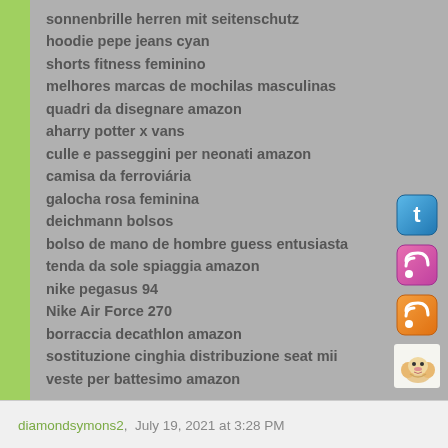sonnenbrille herren mit seitenschutz
hoodie pepe jeans cyan
shorts fitness feminino
melhores marcas de mochilas masculinas
quadri da disegnare amazon
aharry potter x vans
culle e passeggini per neonati amazon
camisa da ferroviária
galocha rosa feminina
deichmann bolsos
bolso de mano de hombre guess entusiasta
tenda da sole spiaggia amazon
nike pegasus 94
Nike Air Force 270
borraccia decathlon amazon
sostituzione cinghia distribuzione seat mii
veste per battesimo amazon
diamondsymons2,  July 19, 2021 at 3:28 PM